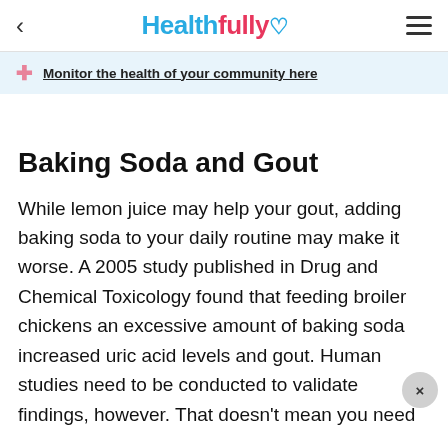Healthfully
Monitor the health of your community here
Baking Soda and Gout
While lemon juice may help your gout, adding baking soda to your daily routine may make it worse. A 2005 study published in Drug and Chemical Toxicology found that feeding broiler chickens an excessive amount of baking soda increased uric acid levels and gout. Human studies need to be conducted to validate findings, however. That doesn't mean you need